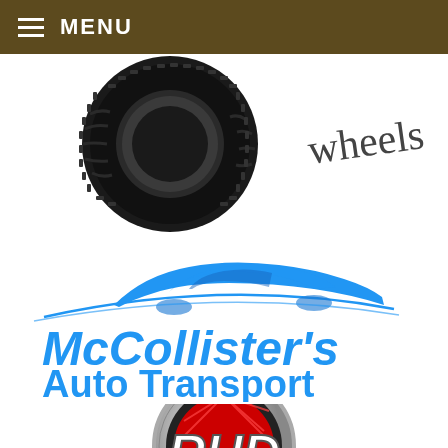MENU
[Figure (logo): Partial tire/wheel logo with cursive 'wheels' text, cropped at the top]
[Figure (logo): McCollister's Auto Transport logo with blue car silhouette and blue text reading McCollister's Auto Transport]
[Figure (logo): Partial RHD logo with circular badge in red, silver and black, partially cropped at the bottom]